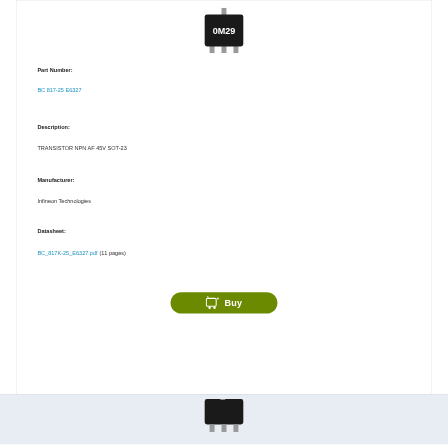[Figure (photo): SOT-23 transistor component photo showing black plastic package with three leads and marking on top]
Part Number:
BC 817-25 E6327
Description:
TRANSISTOR NPN AF 45V SOT-23
Manufacturer:
Infineon Technologies
Datasheet:
BC_817K-25_E6327.pdf  (11 pages)
[Figure (photo): Partial SOT-23 transistor component photo at bottom of page]